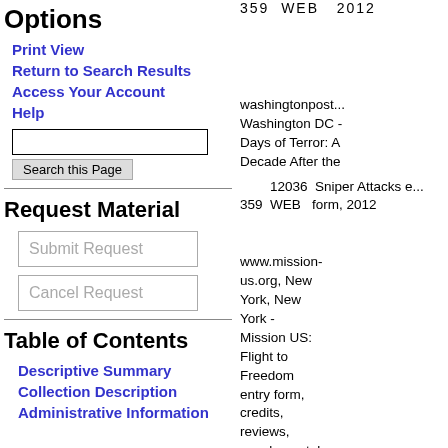359  WEB  2012
Options
Print View
Return to Search Results
Access Your Account
Help
washingtonpost... Washington DC - Days of Terror: A Decade After the Sniper Attacks e... form, 2012
12036
359  WEB  2012
Request Material
Submit Request
Cancel Request
www.mission-us.org, New York, New York - Mission US: Flight to Freedom entry form, credits, reviews, supplemental material, 2012
12037
359  WEB  2012
Table of Contents
Descriptive Summary
Collection Description
Administrative Information